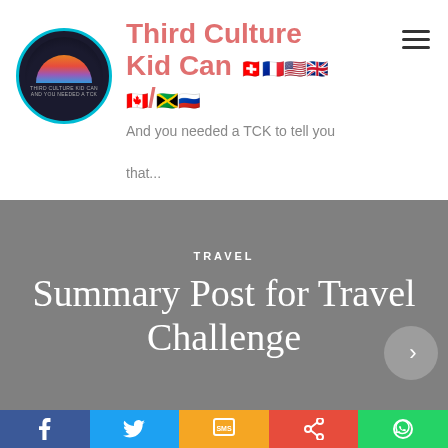[Figure (logo): Circular logo with rainbow arc on dark background, teal border, with small text beneath arc]
Third Culture Kid Can 🇨🇭🇫🇷🇺🇸🇬🇧🇨🇦/🇯🇲🇷🇺
And you needed a TCK to tell you that...
TRAVEL
Summary Post for Travel Challenge